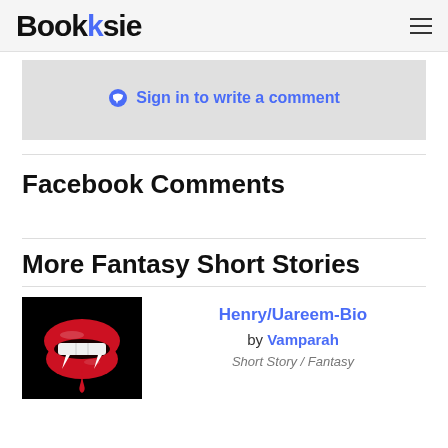Booksie
Sign in to write a comment
Facebook Comments
More Fantasy Short Stories
[Figure (photo): Vampire red lips with fangs on black background]
Henry/Uareem-Bio
by Vamparah
Short Story / Fantasy